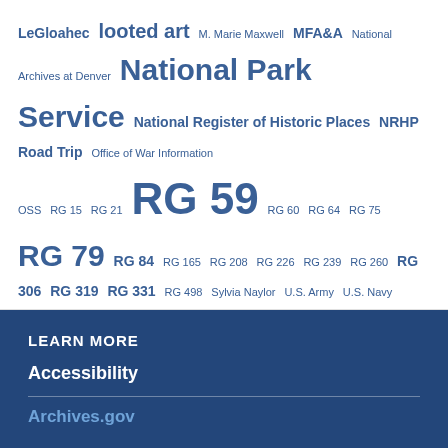LeGloahec looted art M. Marie Maxwell MFA&A National Archives at Denver National Park Service National Register of Historic Places NRHP Road Trip Office of War Information OSS RG 15 RG 21 RG 59 RG 60 RG 64 RG 75 RG 79 RG 84 RG 165 RG 208 RG 226 RG 239 RG 260 RG 306 RG 319 RG 331 RG 498 Sylvia Naylor U.S. Army U.S. Navy virtual tour Women's History Month World War II
LEARN MORE
Accessibility
Archives.gov